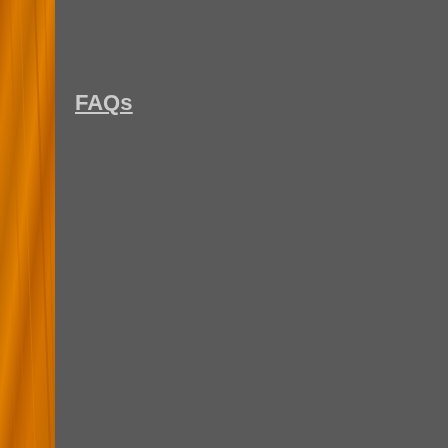FAQs
| Deforest Everyman DT-600 Crystal Radio | The Ev int… |
| DX Homebrew Crystal Radio | DX Ra… |
| Efescaphone #1 Crystal Set Radio | Th is a… |
| Electrolytic Detector and Crystal radio | El de… |